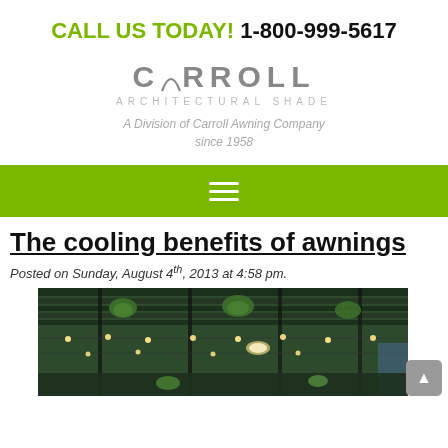CALL US TODAY! 1-800-999-5617
[Figure (logo): Carroll Architectural Shade logo with text 'A Division of Carroll Awning Company since 1958']
[Figure (infographic): Green navigation bar with hamburger menu icon]
The cooling benefits of awnings
Posted on Sunday, August 4th, 2013 at 4:58 pm.
[Figure (photo): Interior photo of a pergola or covered outdoor space with string lights, hanging plants, and dark ceiling panels]